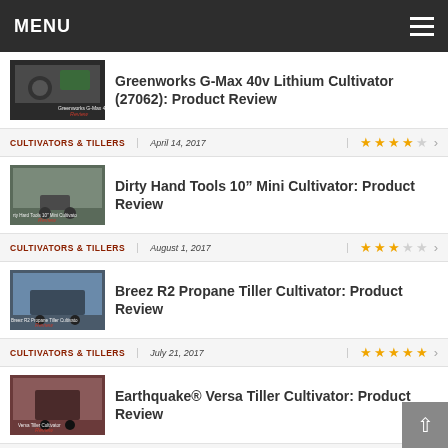MENU
[Figure (screenshot): Thumbnail image for Greenworks G-Max 40v Lithium Cultivator review]
Greenworks G-Max 40v Lithium Cultivator (27062): Product Review
CULTIVATORS & TILLERS | April 14, 2017 | ★★★★☆
[Figure (screenshot): Thumbnail image for Dirty Hand Tools 10 Mini Cultivator review]
Dirty Hand Tools 10" Mini Cultivator: Product Review
CULTIVATORS & TILLERS | August 1, 2017 | ★★★☆☆
[Figure (screenshot): Thumbnail image for Breez R2 Propane Tiller Cultivator review]
Breez R2 Propane Tiller Cultivator: Product Review
CULTIVATORS & TILLERS | July 21, 2017 | ★★★★★
[Figure (screenshot): Thumbnail image for Earthquake Versa Tiller Cultivator review]
Earthquake® Versa Tiller Cultivator: Product Review
CULTIVATORS & TILLERS | August 11, 2017 | ★★★☆☆